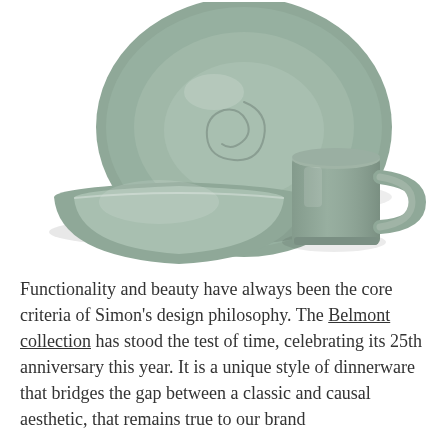[Figure (photo): A sage/muted green ceramic dinnerware set consisting of a large dinner plate (back), a wide shallow soup/pasta bowl (front left), and a mug with handle (front right), all in a matte-glazed style with a swirl pattern on the plate.]
Functionality and beauty have always been the core criteria of Simon's design philosophy. The Belmont collection has stood the test of time, celebrating its 25th anniversary this year. It is a unique style of dinnerware that bridges the gap between a classic and causal aesthetic, that remains true to our brand